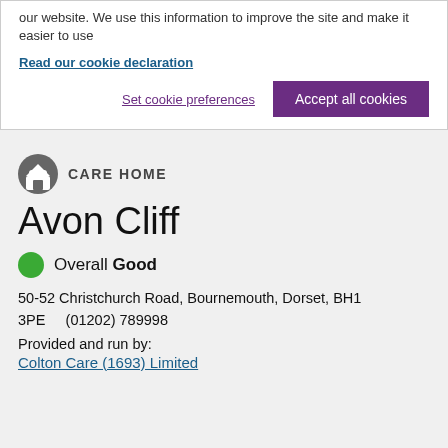our website. We use this information to improve the site and make it easier to use
Read our cookie declaration
Set cookie preferences
Accept all cookies
CARE HOME
Avon Cliff
Overall Good
50-52 Christchurch Road, Bournemouth, Dorset, BH1 3PE    (01202) 789998
Provided and run by:
Colton Care (1693) Limited